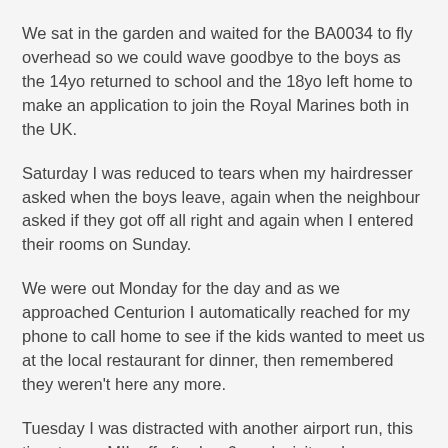We sat in the garden and waited for the BA0034 to fly overhead so we could wave goodbye to the boys as the 14yo returned to school and the 18yo left home to make an application to join the Royal Marines both in the UK.
Saturday I was reduced to tears when my hairdresser asked when the boys leave, again when the neighbour asked if they got off all right and again when I entered their rooms on Sunday.
We were out Monday for the day and as we approached Centurion I automatically reached for my phone to call home to see if the kids wanted to meet us at the local restaurant for dinner, then remembered they weren't here any more.
Tuesday I was distracted with another airport run, this time to see MIL off after her 6 week visit and Wednesday i was in tears again, but this time with frustration as I cleaned and sorted the boys rooms, washed walls that I'd only painted in August when the 14yo left, removed chewing gum from the side of beds and desks and retrieved ALL the missing items.